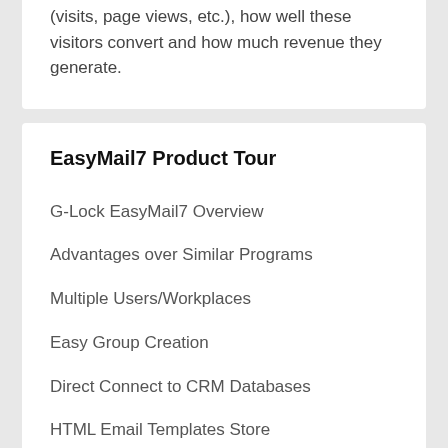(visits, page views, etc.), how well these visitors convert and how much revenue they generate.
EasyMail7 Product Tour
G-Lock EasyMail7 Overview
Advantages over Similar Programs
Multiple Users/Workplaces
Easy Group Creation
Direct Connect to CRM Databases
HTML Email Templates Store
Drag-and-Drop Message Editor
Image Wizard and FTP Client